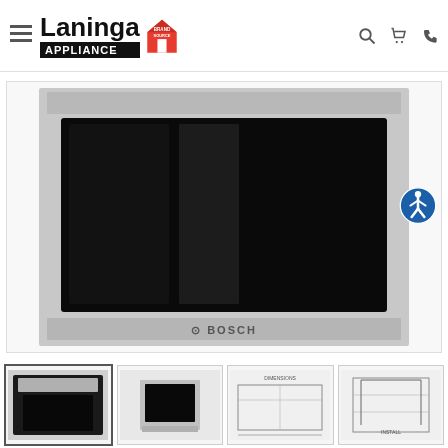Laninga Appliance Brand Source - website header with navigation icons
[Figure (photo): Bosch built-in microwave oven with stainless steel frame and black glass front panel, shown in main product view]
[Figure (photo): Thumbnail 1: Bosch oven front view with control panel]
[Figure (photo): Thumbnail 2: Side angle view of the Bosch microwave]
[Figure (engineering-diagram): Thumbnail 3: Technical/dimensional diagram of the Bosch microwave]
[Figure (engineering-diagram): Thumbnail 4: Installation schematic diagram]